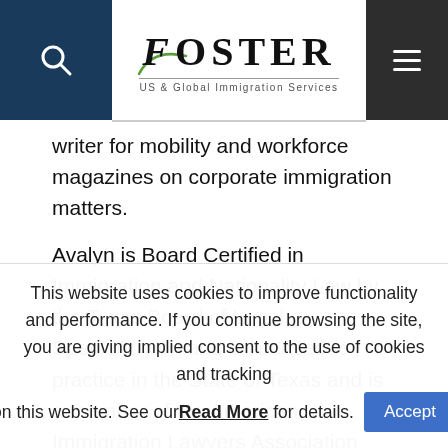Foster US & Global Immigration Services
writer for mobility and workforce magazines on corporate immigration matters.
Avalyn is Board Certified in Immigration and Nationality Law by the Texas Board of Legal Specialization and is licensed to practice in the State of Texas and is a member of the American Immigration Lawyers Association (AILA), State Bar of Texas, and State Bar of
This website uses cookies to improve functionality and performance. If you continue browsing the site, you are giving implied consent to the use of cookies and tracking on this website. See our Read More for details.